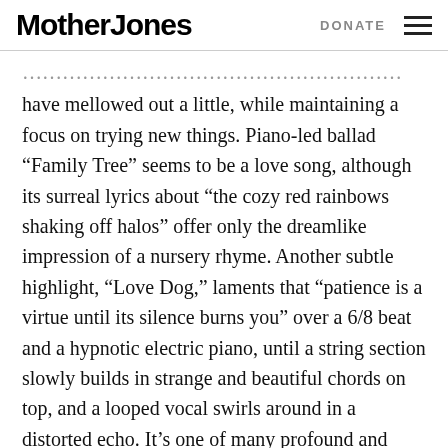Mother Jones    DONATE
have mellowed out a little, while maintaining a focus on trying new things. Piano-led ballad “Family Tree” seems to be a love song, although its surreal lyrics about “the cozy red rainbows shaking off halos” offer only the dreamlike impression of a nursery rhyme. Another subtle highlight, “Love Dog,” laments that “patience is a virtue until its silence burns you” over a 6/8 beat and a hypnotic electric piano, until a string section slowly builds in strange and beautiful chords on top, and a looped vocal swirls around in a distorted echo. It’s one of many profound and lovely moments here. It all makes me wonder if they shouldn’t retroactively switch album names with Cookie Mountain, since